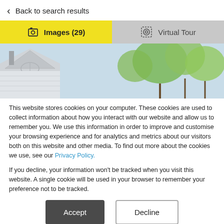Back to search results
[Figure (screenshot): Tab bar with yellow 'Images (29)' tab active and gray 'Virtual Tour' tab]
[Figure (photo): House exterior photo showing roofline and trees against sky]
This website stores cookies on your computer. These cookies are used to collect information about how you interact with our website and allow us to remember you. We use this information in order to improve and customise your browsing experience and for analytics and metrics about our visitors both on this website and other media. To find out more about the cookies we use, see our Privacy Policy.
If you decline, your information won't be tracked when you visit this website. A single cookie will be used in your browser to remember your preference not to be tracked.